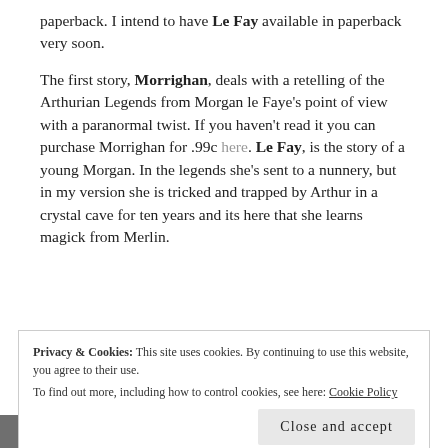paperback. I intend to have Le Fay available in paperback very soon.
The first story, Morrighan, deals with a retelling of the Arthurian Legends from Morgan le Faye's point of view with a paranormal twist. If you haven't read it you can purchase Morrighan for .99c here. Le Fay, is the story of a young Morgan. In the legends she's sent to a nunnery, but in my version she is tricked and trapped by Arthur in a crystal cave for ten years and its here that she learns magick from Merlin.
Privacy & Cookies: This site uses cookies. By continuing to use this website, you agree to their use.
To find out more, including how to control cookies, see here: Cookie Policy
Close and accept
[Figure (photo): Black and white photo partially visible at bottom left corner]
Morgan is horribly